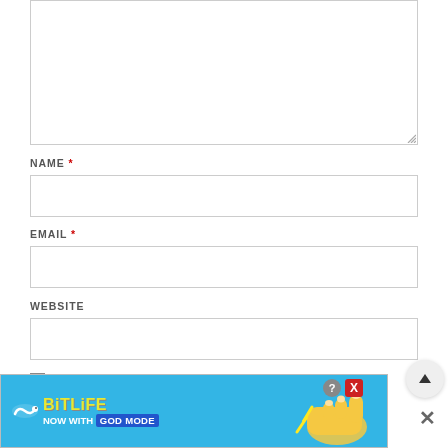[Figure (screenshot): Top portion of a web comment form showing a large textarea input box (partially visible, cut off at top), with a resize handle at bottom-right corner.]
NAME *
[Figure (screenshot): Name input field - single-line text input box with border.]
EMAIL *
[Figure (screenshot): Email input field - single-line text input box with border.]
WEBSITE
[Figure (screenshot): Website input field - single-line text input box with border.]
SAVE MY NAME, EMAIL, AND WEBSITE IN THIS BROWSER FOR
[Figure (screenshot): BitLife advertisement banner: blue background, BitLife logo with yellow text, 'NOW WITH GOD MODE' text, cartoon hand/finger pointing, question mark and X close buttons. An X dismiss button appears to the right of the banner.]